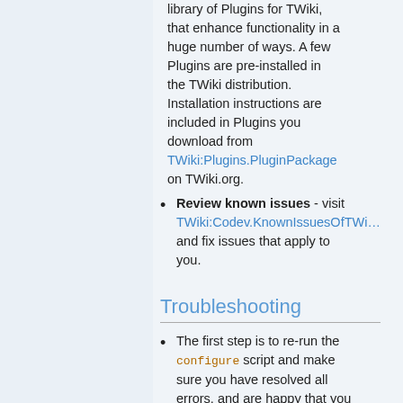library of Plugins for TWiki, that enhance functionality in a huge number of ways. A few Plugins are pre-installed in the TWiki distribution. Installation instructions are included in Plugins you download from TWiki:Plugins.PluginPackage on TWiki.org.
Review known issues - visit TWiki:Codev.KnownIssuesOfTWiki and fix issues that apply to you.
Troubleshooting
The first step is to re-run the configure script and make sure you have resolved all errors, and are happy that you understand any warnings.
TWiki:TWiki.InstallingTWiki on TWiki.org has supplemental